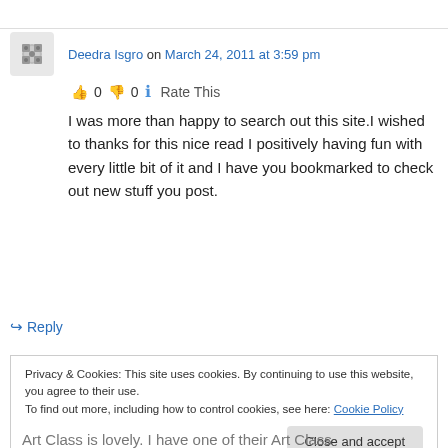Deedra Isgro on March 24, 2011 at 3:59 pm
👍 0 👎 0 ℹ Rate This
I was more than happy to search out this site.I wished to thanks for this nice read I positively having fun with every little bit of it and I have you bookmarked to check out new stuff you post.
↪ Reply
Privacy & Cookies: This site uses cookies. By continuing to use this website, you agree to their use. To find out more, including how to control cookies, see here: Cookie Policy
Close and accept
Art Class is lovely. I have one of their Art Class